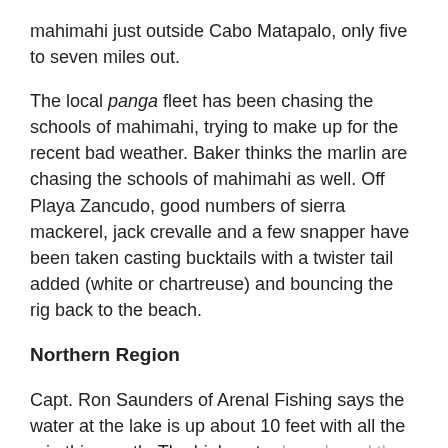mahimahi just outside Cabo Matapalo, only five to seven miles out.
The local panga fleet has been chasing the schools of mahimahi, trying to make up for the recent bad weather. Baker thinks the marlin are chasing the schools of mahimahi as well. Off Playa Zancudo, good numbers of sierra mackerel, jack crevalle and a few snapper have been taken casting bucktails with a twister tail added (white or chartreuse) and bouncing the rig back to the beach.
Northern Region
Capt. Ron Saunders of Arenal Fishing says the water at the lake is up about 10 feet with all the rain this month. The high water has slowed the bite a little, but they are still catching average size guapote, mainly trolling with some topwater action.